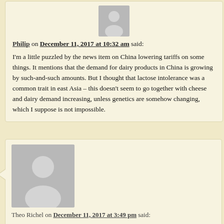[Figure (illustration): Gray avatar placeholder image of a person silhouette, small size]
Philip on December 11, 2017 at 10:32 am said:
I'm a little puzzled by the news item on China lowering tariffs on some things. It mentions that the demand for dairy products in China is growing by such-and-such amounts. But I thought that lactose intolerance was a common trait in east Asia – this doesn't seem to go together with cheese and dairy demand increasing, unless genetics are somehow changing, which I suppose is not impossible.
[Figure (illustration): Gray avatar placeholder image of a person silhouette, large size]
Theo Richel on December 11, 2017 at 3:49 pm said:
Philip: Here in the Netherlands the Chinese interest for dairy involved mainly baby milk formula and babies are not lactose intolerant, after some time they just lose the capability to digest it, apart from white people that can keep on drinking milk during their life (not necessarily only whites, other people